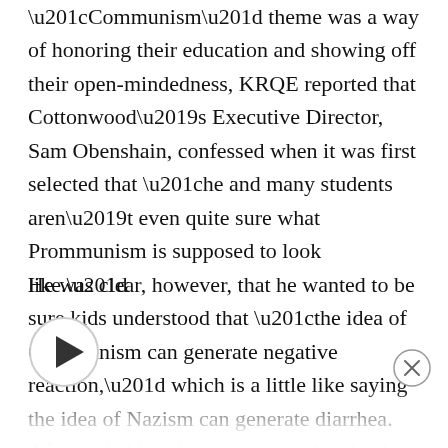“Communism” theme was a way of honoring their education and showing off their open-mindedness, KRQE reported that Cottonwood’s Executive Director, Sam Obenshain, confessed when it was first selected that “he and many students aren’t even quite sure what Prommunism is supposed to look like.”
He was clear, however, that he wanted to be sure kids understood that “the idea of Communism can generate negative reaction,” which is a little like saying the idea of Nazism can generate diarrhea. After switching themes, one student leader …ently told KRQE that he’d learned “there are a lot of negative connotations to the word” and
[Figure (other): A circular play button (media player control) overlaid on the text, and a circular close/X button in the bottom right area.]